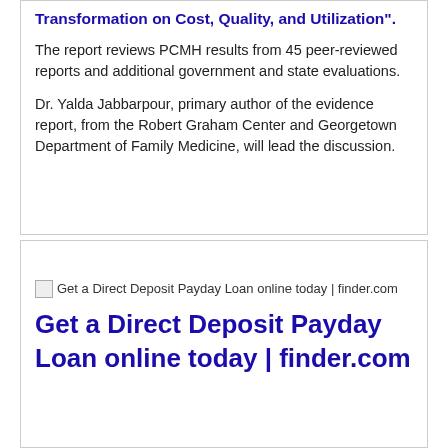Transformation on Cost, Quality, and Utilization".
The report reviews PCMH results from 45 peer-reviewed reports and additional government and state evaluations.
Dr. Yalda Jabbarpour, primary author of the evidence report, from the Robert Graham Center and Georgetown Department of Family Medicine, will lead the discussion.
[link bar - partially visible]
[Figure (other): Broken image placeholder for 'Get a Direct Deposit Payday Loan online today | finder.com']
Get a Direct Deposit Payday Loan online today | finder.com